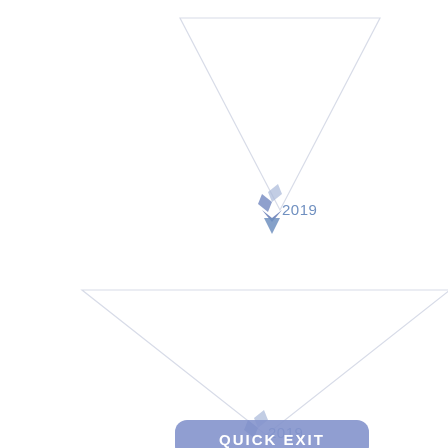[Figure (infographic): Two inverted triangle funnel shapes with a small blue chevron/arrow icon and '2019' label at the tip of each. The top funnel is smaller and positioned in the upper-center. The bottom funnel is larger and positioned in the lower-center, with a blue rounded rectangle button labeled 'QUICK EXIT' at its bottom tip.]